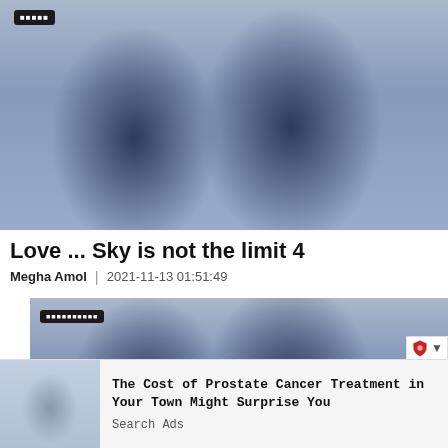[Figure (photo): A man and woman in navy blue outfits making a heart shape with their hands, with a chat bubble overlay showing text in non-Latin script]
Love ... Sky is not the limit 4
Megha Amol | 2021-11-13 01:51:49
[Figure (photo): A second similar photo of a man and woman in navy blue, with a chat bubble overlay showing text in non-Latin script]
The Cost of Prostate Cancer Treatment in Your Town Might Surprise You
Search Ads